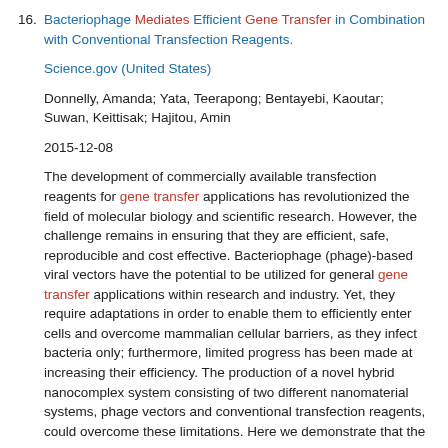16. Bacteriophage Mediates Efficient Gene Transfer in Combination with Conventional Transfection Reagents.
Science.gov (United States)
Donnelly, Amanda; Yata, Teerapong; Bentayebi, Kaoutar; Suwan, Keittisak; Hajitou, Amin
2015-12-08
The development of commercially available transfection reagents for gene transfer applications has revolutionized the field of molecular biology and scientific research. However, the challenge remains in ensuring that they are efficient, safe, reproducible and cost effective. Bacteriophage (phage)-based viral vectors have the potential to be utilized for general gene transfer applications within research and industry. Yet, they require adaptations in order to enable them to efficiently enter cells and overcome mammalian cellular barriers, as they infect bacteria only; furthermore, limited progress has been made at increasing their efficiency. The production of a novel hybrid nanocomplex system consisting of two different nanomaterial systems, phage vectors and conventional transfection reagents, could overcome these limitations. Here we demonstrate that the